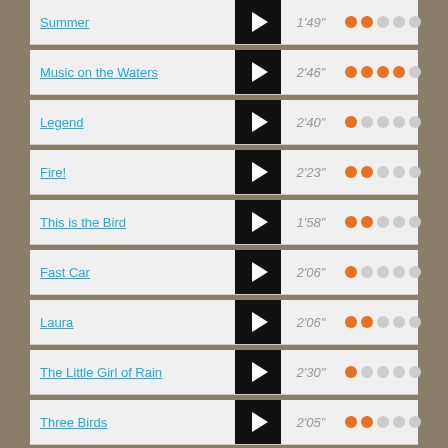Summer — 1'49" — rating: 2/5
Music on the Waters — 2'46" — rating: 4/5
Legend — 2'40" — rating: 1/5
Fire! — 2'23" — rating: 2/5
This is the Bird — 1'58" — rating: 2/5
Fast Car — 2'06" — rating: 1/5
Laura — 2'06" — rating: 2/5
The Little Girl of Rain — 2'30" — rating: 1/5
Three Birds — 2'05" — rating: 2/5
Mad Moon — 2'03" — rating: 2/5